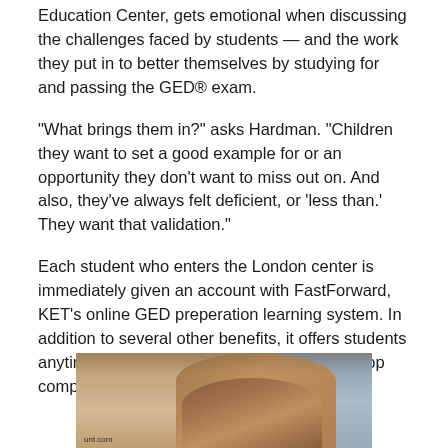Education Center, gets emotional when discussing the challenges faced by students — and the work they put in to better themselves by studying for and passing the GED® exam.
“What brings them in?” asks Hardman. “Children they want to set a good example for or an opportunity they don’t want to miss out on. And also, they’ve always felt deficient, or ‘less than.’ They want that validation.”
Each student who enters the London center is immediately given an account with FastForward, KET’s online GED preperation learning system. In addition to several other benefits, it offers students anytime access to study materials on a desktop computer or smartphone.
[Figure (photo): Partial photo of a person with reddish-brown hair, visible from the shoulders up, with a blurred background of blue/gray tones]